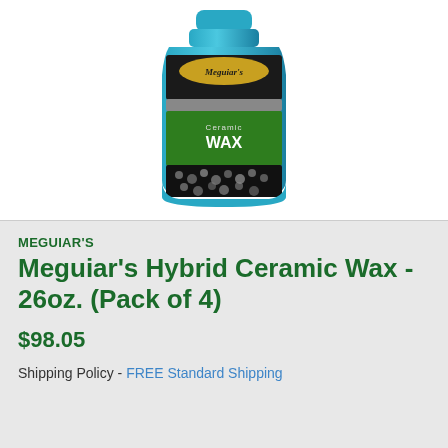[Figure (photo): Meguiar's Hybrid Ceramic Wax 26oz bottle product photo. Blue bottle with green and black label showing 'Ceramic WAX' branding and water beads imagery.]
MEGUIAR'S
Meguiar's Hybrid Ceramic Wax - 26oz. (Pack of 4)
$98.05
Shipping Policy - FREE Standard Shipping